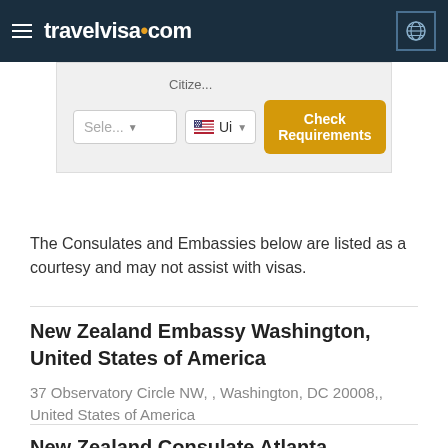travelvisa.com
[Figure (screenshot): Search form with 'Sele...' dropdown, US flag 'Ur' dropdown, and 'Check Requirements' orange button, and 'Citize...' label]
The Consulates and Embassies below are listed as a courtesy and may not assist with visas.
New Zealand Embassy Washington, United States of America
37 Observatory Circle NW, , Washington, DC 20008,, United States of America
New Zealand Consulate Atlanta, Georgia, United States of America